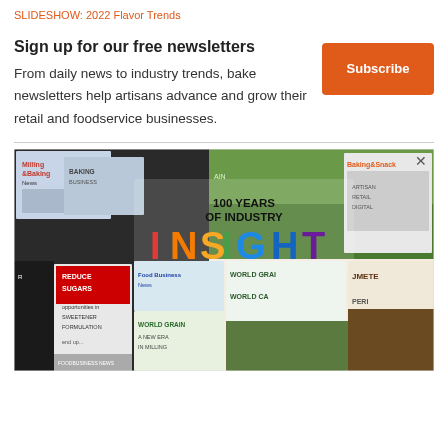SLIDESHOW: 2022 Flavor Trends
Sign up for our free newsletters
From daily news to industry trends, bake newsletters help artisans advance and grow their retail and foodservice businesses.
[Figure (illustration): Advertisement banner: '100 YEARS OF INDUSTRY INSIGHT' with colorful magazine covers collage including Baking & Snack, Milling & Baking News, Food Business News, and others. Contains 'REDUCE SUGARS' and 'WORLD GRAIN' publication covers.]